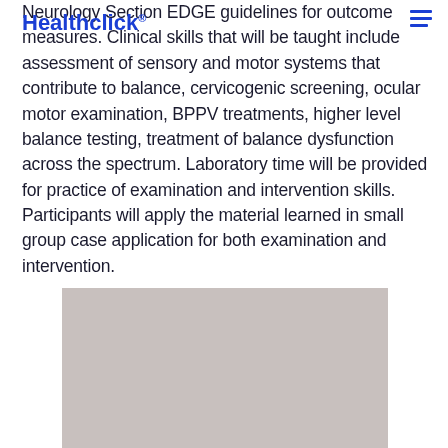Healthclick®
Neurology Section EDGE guidelines for outcome measures. Clinical skills that will be taught include assessment of sensory and motor systems that contribute to balance, cervicogenic screening, ocular motor examination, BPPV treatments, higher level balance testing, treatment of balance dysfunction across the spectrum. Laboratory time will be provided for practice of examination and intervention skills. Participants will apply the material learned in small group case application for both examination and intervention.
[Figure (photo): A gray rectangular placeholder image, likely representing a photo or image content related to the medical/educational topic.]